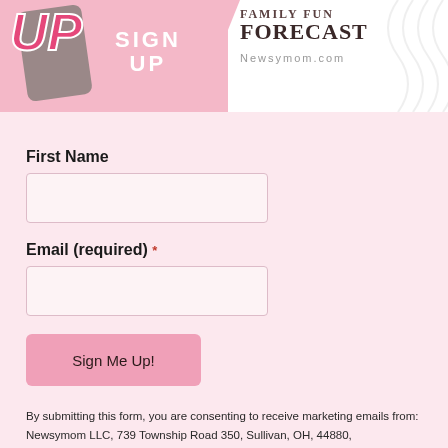[Figure (illustration): Banner image with phone graphic showing 'UP', pink background with 'SIGN UP' text, and white right section showing 'FAMILY FUN FORECAST' heading and 'Newsymom.com' subtitle]
First Name
Email (required) *
Sign Me Up!
By submitting this form, you are consenting to receive marketing emails from:
Newsymom LLC, 739 Township Road 350, Sullivan, OH, 44880, http://Newsymom.com.